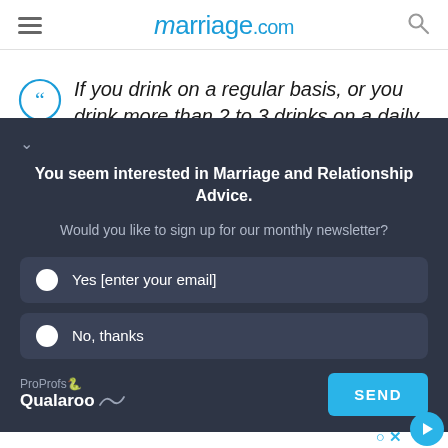marriage.com
If you drink on a regular basis, or you drink more than 2 to 3 drinks on a daily
[Figure (screenshot): Dark popup modal from Qualaroo/ProProfs asking user to sign up for monthly newsletter about Marriage and Relationship Advice, with Yes and No radio options and a SEND button]
If y... any wa... one, you are... e inte... resent fo...